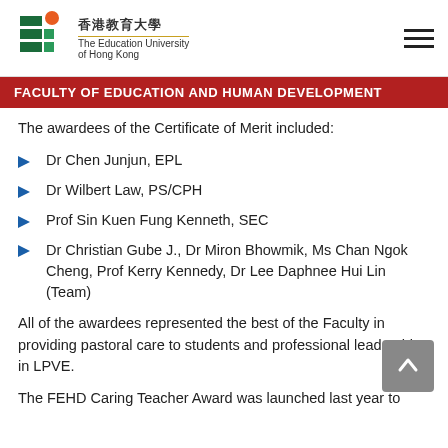香港教育大學 The Education University of Hong Kong
FACULTY OF EDUCATION AND HUMAN DEVELOPMENT
The awardees of the Certificate of Merit included:
Dr Chen Junjun, EPL
Dr Wilbert Law, PS/CPH
Prof Sin Kuen Fung Kenneth, SEC
Dr Christian Gube J., Dr Miron Bhowmik, Ms Chan Ngok Cheng, Prof Kerry Kennedy, Dr Lee Daphnee Hui Lin (Team)
All of the awardees represented the best of the Faculty in providing pastoral care to students and professional leadership in LPVE.
The FEHD Caring Teacher Award was launched last year to